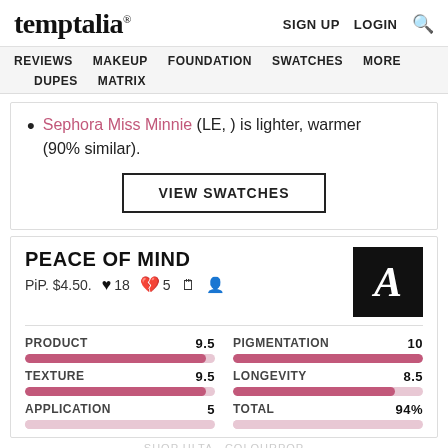temptalia® | SIGN UP  LOGIN  🔍
REVIEWS  MAKEUP  FOUNDATION  SWATCHES  MORE  DUPES  MATRIX
Sephora Miss Minnie (LE, ) is lighter, warmer (90% similar).
VIEW SWATCHES
PEACE OF MIND
PiP. $4.50.  ♥ 18  💔 5  🗒  👤
| Category | Score |
| --- | --- |
| PRODUCT | 9.5 |
| TEXTURE | 9.5 |
| APPLICATION | 5 |
| PIGMENTATION | 10 |
| LONGEVITY | 8.5 |
| TOTAL | 94% |